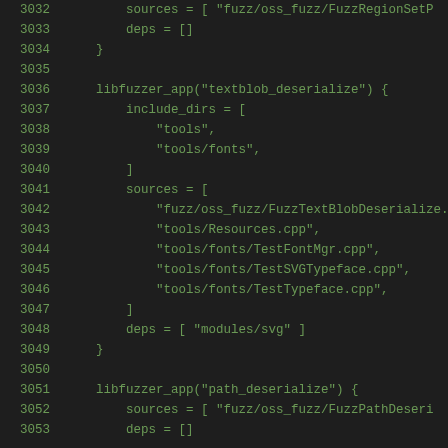Code listing lines 3032-3053 showing libfuzzer_app build targets for textblob_deserialize and path_deserialize in a build configuration file